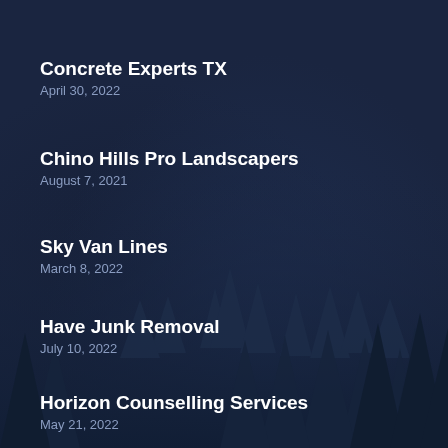Concrete Experts TX
April 30, 2022
Chino Hills Pro Landscapers
August 7, 2021
Sky Van Lines
March 8, 2022
Have Junk Removal
July 10, 2022
Horizon Counselling Services
May 21, 2022